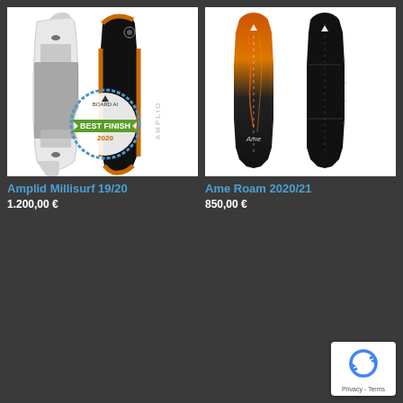[Figure (photo): Amplid Millisurf 19/20 snowboard product photo showing two views of the board - left view showing white deck with black base pattern and Best Finish 2020 badge, right view showing orange-edged black board with AMPLIO text]
Amplid Millisurf 19/20
1.200,00 €
[Figure (photo): Ame Roam 2020/21 snowboard product photo showing two views - left view with orange/red gradient fire design, right view all black with Ame branding]
Ame Roam 2020/21
850,00 €
[Figure (logo): Google reCAPTCHA badge showing the reCAPTCHA logo with Privacy and Terms links]